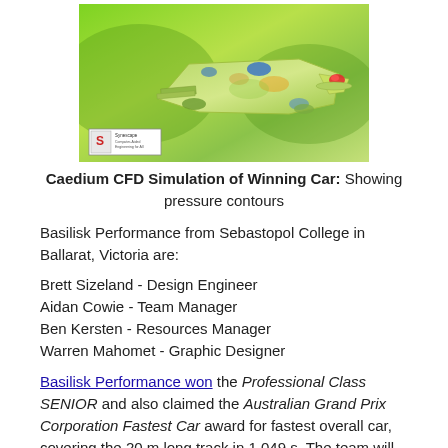[Figure (photo): CFD simulation image of a Formula 1 in Schools car showing pressure contours in color (green, blue, red, yellow) with a Synescape logo watermark in the lower left corner]
Caedium CFD Simulation of Winning Car: Showing pressure contours
Basilisk Performance from Sebastopol College in Ballarat, Victoria are:
Brett Sizeland - Design Engineer
Aidan Cowie - Team Manager
Ben Kersten - Resources Manager
Warren Mahomet - Graphic Designer
Basilisk Performance won the Professional Class SENIOR and also claimed the Australian Grand Prix Corporation Fastest Car award for fastest overall car, covering the 20 m long track in 1.049 s. The team will now go on to represent Australia in the 2010 F1 in Schools World Championship to be held in Singapore in September.
The 2009 F1 in Schools Australian championship was